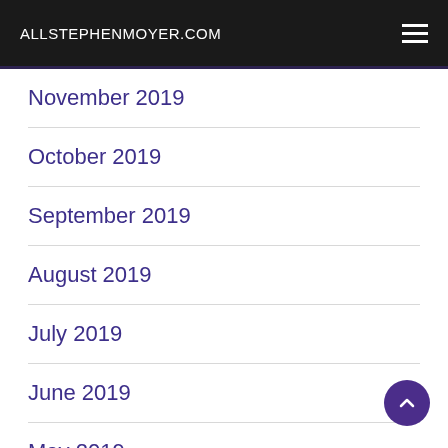ALLSTEPHENMOYER.COM
November 2019
October 2019
September 2019
August 2019
July 2019
June 2019
May 2019
April 2019